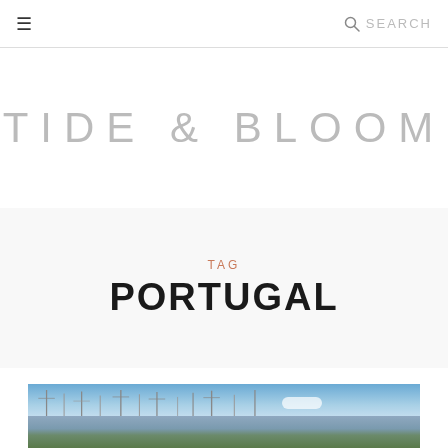☰  SEARCH
TIDE & BLOOM
TAG
PORTUGAL
[Figure (photo): Harbour scene with sailboat masts in the foreground, blue sky with clouds above, green hills and buildings in the background, coastal Portuguese town]